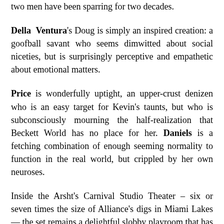two men have been sparring for two decades.
Della Ventura's Doug is simply an inspired creation: a goofball savant who seems dimwitted about social niceties, but is surprisingly perceptive and empathetic about emotional matters.
Price is wonderfully uptight, an upper-crust denizen who is an easy target for Kevin's taunts, but who is subconsciously mourning the half-realization that Beckett World has no place for her. Daniels is a fetching combination of enough seeming normality to function in the real world, but crippled by her own neuroses.
Inside the Arsht's Carnival Studio Theater – six or seven times the size of Alliance's digs in Miami Lakes — the set remains a delightful slobby playroom that has never seen a maid or a mother: walls painted in Pepto pink, dominated by a bunk bed with comic book sheets and